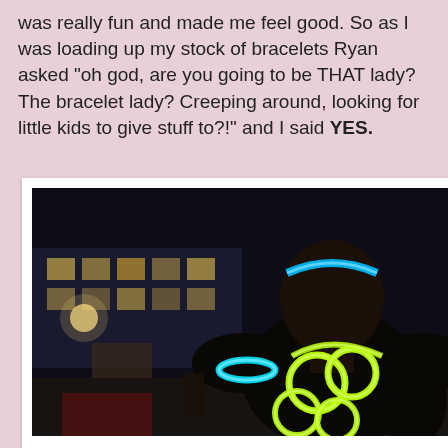was really fun and made me feel good. So as I was loading up my stock of bracelets Ryan asked "oh god, are you going to be THAT lady? The bracelet lady? Creeping around, looking for little kids to give stuff to?!" and I said YES.
[Figure (photo): A person viewed from behind at night, wearing glowing neon yellow/green bracelets and a blue glowing headband. The background shows an outdoor venue with lights, tables, and chairs.]